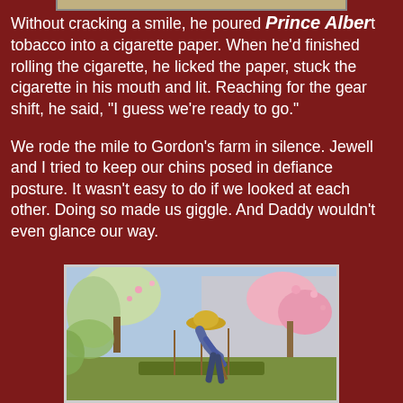[Figure (photo): Partial view of a top image strip, cropped at the top of the page]
Without cracking a smile, he poured Prince Albert tobacco into a cigarette paper. When he'd finished rolling the cigarette, he licked the paper, stuck the cigarette in his mouth and lit. Reaching for the gear shift, he said, “I guess we're ready to go.”

We rode the mile to Gordon's farm in silence. Jewell and I tried to keep our chins posed in defiance posture. It wasn't easy to do if we looked at each other. Doing so made us giggle. And Daddy wouldn't even glance our way.
[Figure (photo): A person wearing a straw hat bending over and working in a garden with blooming trees and pink flowers in the background]